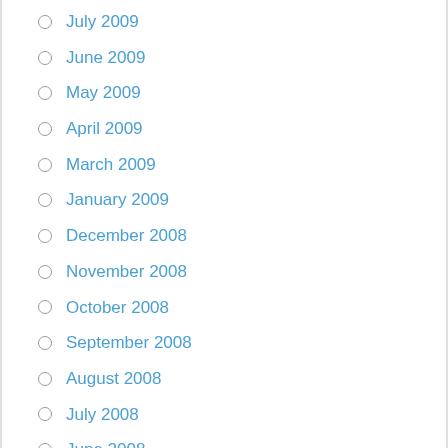July 2009
June 2009
May 2009
April 2009
March 2009
January 2009
December 2008
November 2008
October 2008
September 2008
August 2008
July 2008
June 2008
May 2008
April 2008
March 2008
February 2008
January 2008
November 2007
October 2007